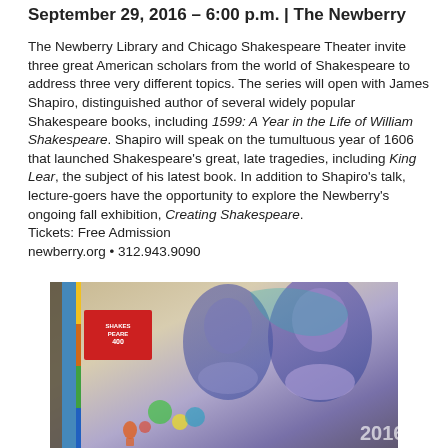September 29, 2016 – 6:00 p.m. | The Newberry
The Newberry Library and Chicago Shakespeare Theater invite three great American scholars from the world of Shakespeare to address three very different topics. The series will open with James Shapiro, distinguished author of several widely popular Shakespeare books, including 1599: A Year in the Life of William Shakespeare. Shapiro will speak on the tumultuous year of 1606 that launched Shakespeare's great, late tragedies, including King Lear, the subject of his latest book. In addition to Shapiro's talk, lecture-goers have the opportunity to explore the Newberry's ongoing fall exhibition, Creating Shakespeare.
Tickets: Free Admission
newberry.org • 312.943.9090
[Figure (photo): Photo of Shakespeare 400 promotional booklets/programs on a table, with graphic design featuring a stylized portrait of Shakespeare in purple and teal tones, colorful illustrations, and '2016' text visible.]